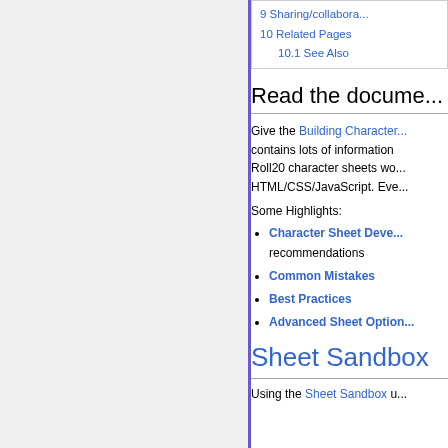| 9 Sharing/Collabora... |
| 10 Related Pages |
| 10.1 See Also |
Read the docume...
Give the Building Character... contains lots of information... Roll20 character sheets wo... HTML/CSS/JavaScript. Eve...
Some Highlights:
Character Sheet Deve... recommendations
Common Mistakes
Best Practices
Advanced Sheet Option...
Sheet Sandbox
Using the Sheet Sandbox u...